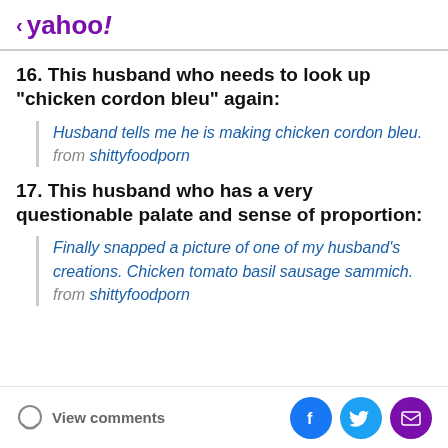< yahoo!
16. This husband who needs to look up "chicken cordon bleu" again:
Husband tells me he is making chicken cordon bleu. from shittyfoodporn
17. This husband who has a very questionable palate and sense of proportion:
Finally snapped a picture of one of my husband's creations. Chicken tomato basil sausage sammich. from shittyfoodporn
View comments